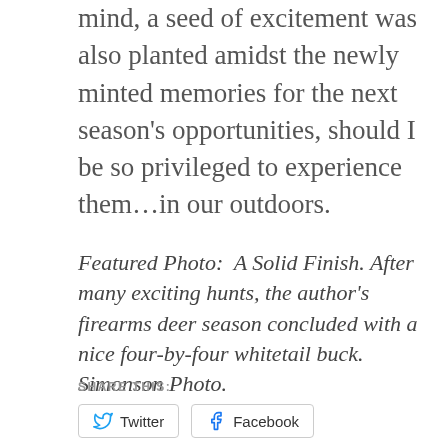mind, a seed of excitement was also planted amidst the newly minted memories for the next season's opportunities, should I be so privileged to experience them…in our outdoors.
Featured Photo:  A Solid Finish. After many exciting hunts, the author's firearms deer season concluded with a nice four-by-four whitetail buck. Simonson Photo.
SHARE THIS:
Twitter   Facebook